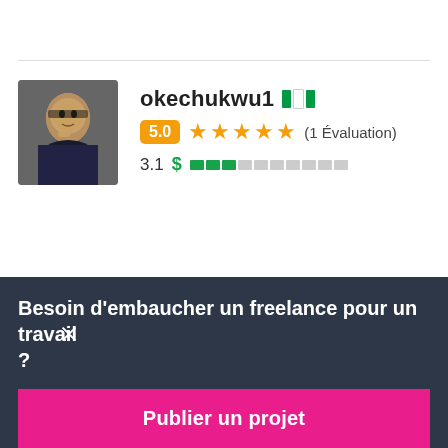okechukwu1 🇳🇬
5.0 ★★★★★ (1 Évaluation)
3.1 $ ██████████
avinashsg16 🇮🇳
Besoin d'embaucher un freelance pour un travail ?
Publier un projet